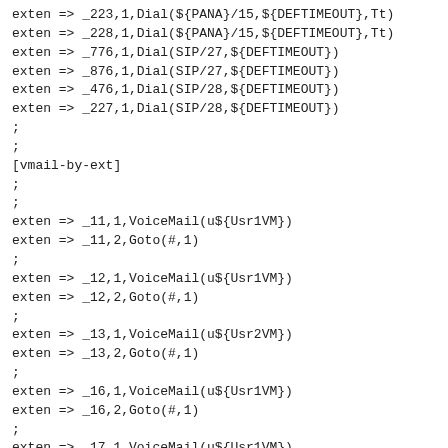exten => _223,1,Dial(${PANA}/15,${DEFTIMEOUT},Tt)
exten => _228,1,Dial(${PANA}/15,${DEFTIMEOUT},Tt)
exten => _776,1,Dial(SIP/27,${DEFTIMEOUT})
exten => _876,1,Dial(SIP/27,${DEFTIMEOUT})
exten => _476,1,Dial(SIP/28,${DEFTIMEOUT})
exten => _227,1,Dial(SIP/28,${DEFTIMEOUT})
;
;
[vmail-by-ext]
;
;
exten => _11,1,VoiceMail(u${Usr1VM})
exten => _11,2,Goto(#,1)
;
exten => _12,1,VoiceMail(u${Usr1VM})
exten => _12,2,Goto(#,1)
;
exten => _13,1,VoiceMail(u${Usr2VM})
exten => _13,2,Goto(#,1)
;
exten => _16,1,VoiceMail(u${Usr1VM})
exten => _16,2,Goto(#,1)
;
exten => _17,1,VoiceMail(u${Usr1VM})
exten => _17,2,Goto(#,1)
;